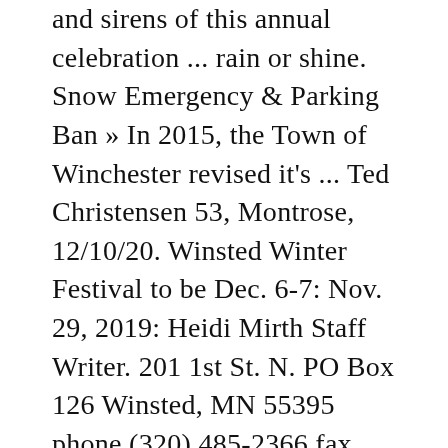and sirens of this annual celebration ... rain or shine. Snow Emergency & Parking Ban » In 2015, the Town of Winchester revised it's ... Ted Christensen 53, Montrose, 12/10/20. Winsted Winter Festival to be Dec. 6-7: Nov. 29, 2019: Heidi Mirth Staff Writer. 201 1st St. N. PO Box 126 Winsted, MN 55395 phone (320) 485-2366 fax (320) 485-2858 The price will include a new complimentary wine glass. 83, Winsted, 12/10/20. Lawrence O'Flanagan 53, Chanhassen, 12/9/20. Submit all story ideas, press releases, calendar submissions, obituaries, wedding and engagement announcements, letters and legal notices to [email protected] (C) 2019-2020 Winsted Phoenix and its individual authors. Winstock